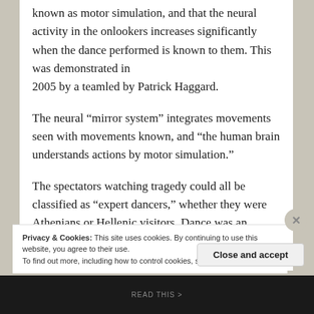known as motor simulation, and that the neural activity in the onlookers increases significantly when the dance performed is known to them. This was demonstrated in 2005 by a teamled by Patrick Haggard.
The neural “mirror system” integrates movements seen with movements known, and “the human brain understands actions by motor simulation.”
The spectators watching tragedy could all be classified as “expert dancers,” whether they were Athenians or Hellenic visitors. Dance was an enormous part of Greek cultural identity, not to
Privacy & Cookies: This site uses cookies. By continuing to use this website, you agree to their use.
To find out more, including how to control cookies, see here: Cookie Policy